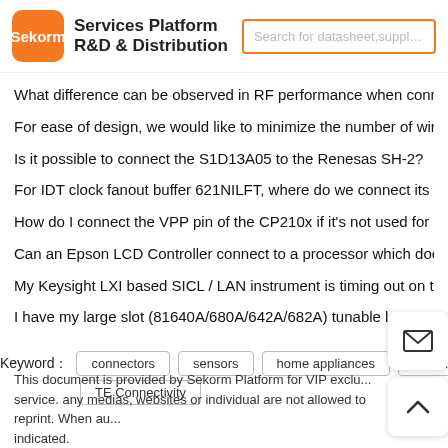[Figure (logo): Sekorm Services Platform R&D & Distribution logo with orange rounded square and search bar]
What difference can be observed in RF performance when connecting...
For ease of design, we would like to minimize the number of wireless p...
Is it possible to connect the S1D13A05 to the Renesas SH-2?
For IDT clock fanout buffer 621NILFT, where do we connect its expose...
How do I connect the VPP pin of the CP210x if it's not used for ROM p...
Can an Epson LCD Controller connect to a processor which does not...
My Keysight LXI based SICL / LAN instrument is timing out on the LAN...
I have my large slot (81640A/680A/642A/682A) tunable laser connecte...
Keyword: connectors  sensors  home appliances  com...  TE Connectivity
This document is provided by Sekorm Platform for VIP exclu... service. any medias, websites or individual are not allowed to reprint. When au... indicated.